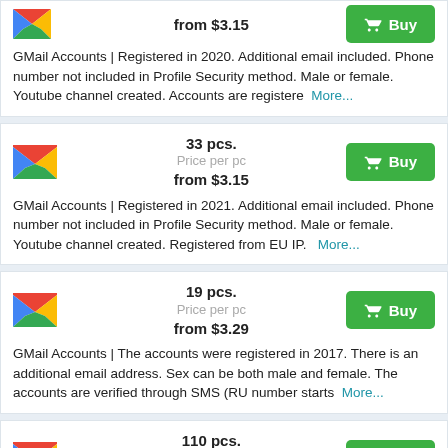from $3.15 | GMail Accounts | Registered in 2020. Additional email included. Phone number not included in Profile Security method. Male or female. Youtube channel created. Accounts are registere More...
[Figure (logo): Gmail M logo]
33 pcs. Price per pc from $3.15 Buy
GMail Accounts | Registered in 2021. Additional email included. Phone number not included in Profile Security method. Male or female. Youtube channel created. Registered from EU IP. More...
[Figure (logo): Gmail M logo]
19 pcs. Price per pc from $3.29 Buy
GMail Accounts | The accounts were registered in 2017. There is an additional email address. Sex can be both male and female. The accounts are verified through SMS (RU number starts More...
[Figure (logo): Gmail M logo]
110 pcs. Price per pc from $3.33 Buy
GMail Accounts | Registered in 2021. Additional email included.